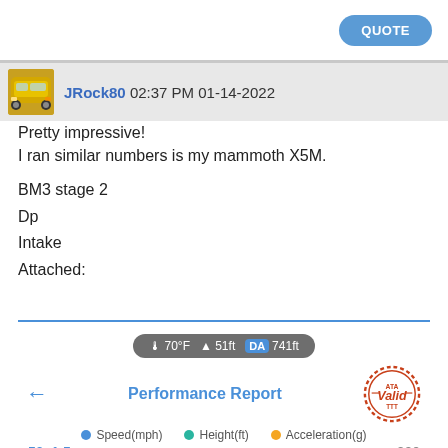QUOTE
JRock80 02:37 PM 01-14-2022
Pretty impressive!
I ran similar numbers is my mammoth X5M.
BM3 stage 2
Dp
Intake
Attached:
[Figure (screenshot): Performance Report screenshot showing conditions bar (70°F, 51ft, DA 741ft), back arrow, Performance Report title, Valid stamp, legend with Speed(mph), Height(ft), Acceleration(g), and partial numbers 50, 1.5, 200]